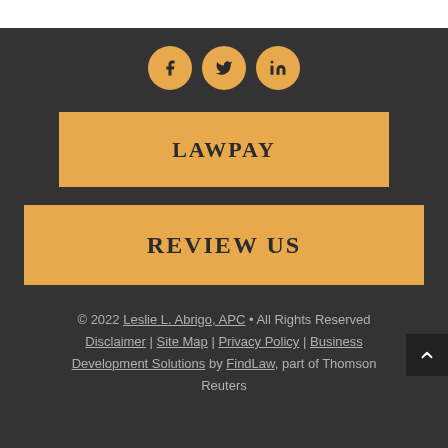[Figure (other): Social media icons for Facebook, Twitter, and LinkedIn as circular golden/amber buttons]
[Figure (other): Golden/amber rectangular button with text LAWPAY]
[Figure (other): Golden/amber rectangular button with text REVIEW US]
© 2022 Leslie L. Abrigo, APC • All Rights Reserved Disclaimer | Site Map | Privacy Policy | Business Development Solutions by FindLaw, part of Thomson Reuters